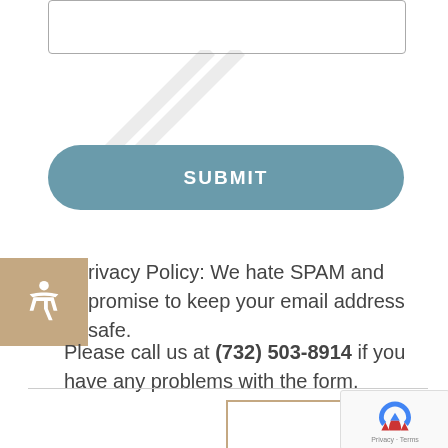[Figure (screenshot): A text input field box at the top of the page]
SUBMIT
Privacy Policy: We hate SPAM and promise to keep your email address safe.
Please call us at (732) 503-8914 if you have any problems with the form.
[Figure (logo): K T logo inside a tan bordered box at the bottom center]
[Figure (other): reCAPTCHA widget with rotating arrows icon and Privacy/Terms links]